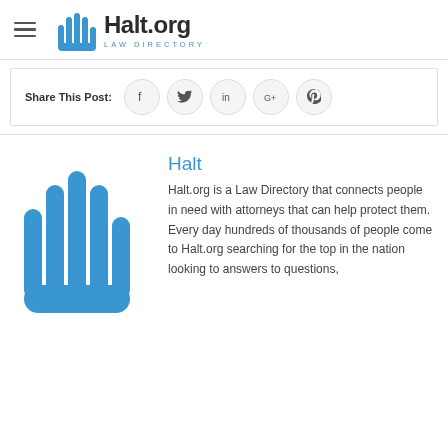Halt.org Law Directory
Share This Post:
[Figure (logo): Halt.org hand logo with five blue rounded vertical bars forming a hand shape, with text 'Halt' in blue and 'Halt.org is a Law Directory that connects people in need with attorneys that can help protect them. Every day hundreds of thousands of people come to Halt.org searching for the top in the nation looking to answers to questions,']
Halt
Halt.org is a Law Directory that connects people in need with attorneys that can help protect them. Every day hundreds of thousands of people come to Halt.org searching for the top in the nation looking to answers to questions,